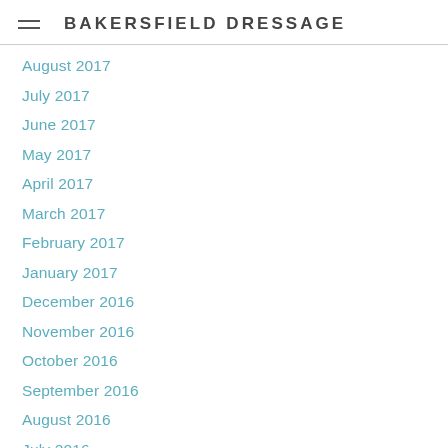BAKERSFIELD DRESSAGE
August 2017
July 2017
June 2017
May 2017
April 2017
March 2017
February 2017
January 2017
December 2016
November 2016
October 2016
September 2016
August 2016
July 2016
June 2016
May 2016
April 2016
March 2016